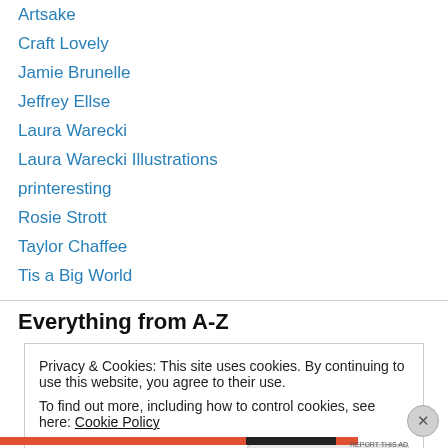Artsake
Craft Lovely
Jamie Brunelle
Jeffrey Ellse
Laura Warecki
Laura Warecki Illustrations
printeresting
Rosie Strott
Taylor Chaffee
Tis a Big World
Everything from A-Z
Privacy & Cookies: This site uses cookies. By continuing to use this website, you agree to their use.
To find out more, including how to control cookies, see here: Cookie Policy
Close and accept